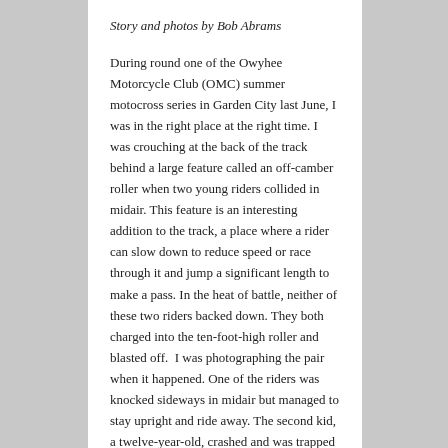Story and photos by Bob Abrams
During round one of the Owyhee Motorcycle Club (OMC) summer motocross series in Garden City last June, I was in the right place at the right time. I was crouching at the back of the track behind a large feature called an off-camber roller when two young riders collided in midair. This feature is an interesting addition to the track, a place where a rider can slow down to reduce speed or race through it and jump a significant length to make a pass. In the heat of battle, neither of these two riders backed down. They both charged into the ten-foot-high roller and blasted off.  I was photographing the pair when it happened. One of the riders was knocked sideways in midair but managed to stay upright and ride away. The second kid, a twelve-year-old, crashed and was trapped under the motorcycle.
I rushed to help him get back on his feet. The combination of fear and resolve I saw in his face